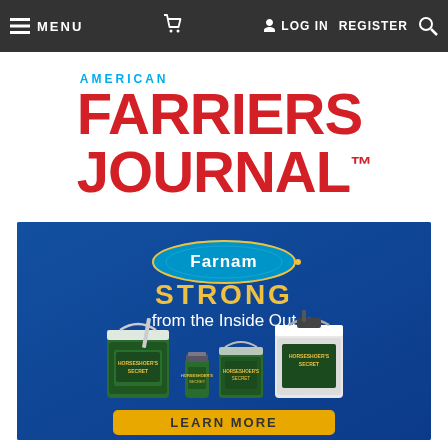MENU | Cart | LOG IN | REGISTER | Search
[Figure (logo): American Farriers Journal logo in red and blue]
[Figure (illustration): Farnam advertisement: STRONG from the Inside Out, showing horse supplement product buckets and containers, with a LEARN MORE button]